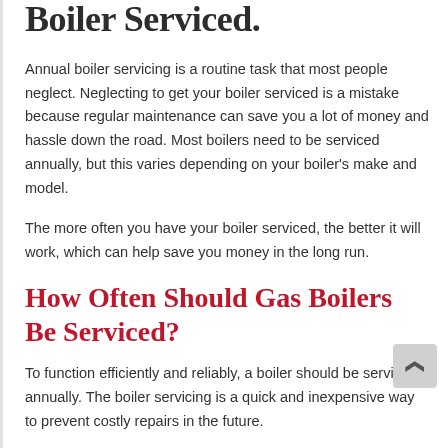Boiler Serviced.
Annual boiler servicing is a routine task that most people neglect. Neglecting to get your boiler serviced is a mistake because regular maintenance can save you a lot of money and hassle down the road. Most boilers need to be serviced annually, but this varies depending on your boiler's make and model.
The more often you have your boiler serviced, the better it will work, which can help save you money in the long run.
How Often Should Gas Boilers Be Serviced?
To function efficiently and reliably, a boiler should be serviced annually. The boiler servicing is a quick and inexpensive way to prevent costly repairs in the future.
The boiler will be inspected for any problems or